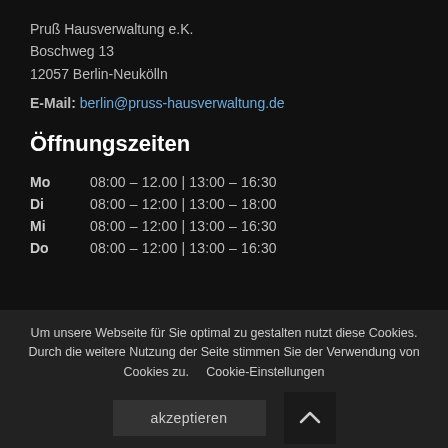Pruß Hausverwaltung e.K.
Boschweg 13
12057 Berlin-Neukölln
E-Mail: berlin@pruss-hausverwaltung.de
Öffnungszeiten
| Mo | 08:00 – 12.00 | 13:00 – 16:30 |
| Di | 08:00 – 12:00 | 13:00 – 18:00 |
| Mi | 08:00 – 12:00 | 13:00 – 16:30 |
| Do | 08:00 – 12:00 | 13:00 – 16:30 |
Um unsere Webseite für Sie optimal zu gestalten nutzt diese Cookies. Durch die weitere Nutzung der Seite stimmen Sie der Verwendung von Cookies zu.   Cookie-Einstellungen
akzeptieren